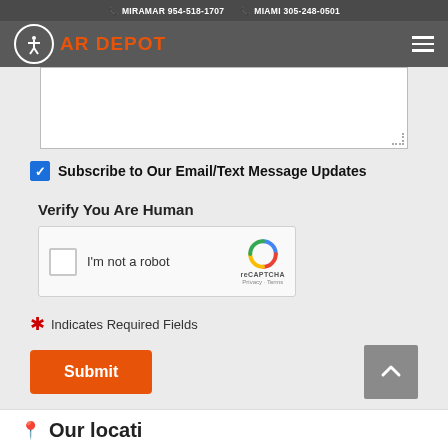MIRAMAR 954-518-1707  MIAMI 305-248-0501
[Figure (screenshot): Car Depot logo with accessibility icon circle and orange text 'AR DEPOT' on dark gray navigation bar with hamburger menu]
[Figure (screenshot): White textarea input box with resize handle at bottom right]
Subscribe to Our Email/Text Message Updates
Verify You Are Human
[Figure (screenshot): reCAPTCHA widget with 'I'm not a robot' checkbox and reCAPTCHA logo]
* Indicates Required Fields
[Figure (screenshot): Orange Submit button and gray scroll-to-top arrow button]
Our location